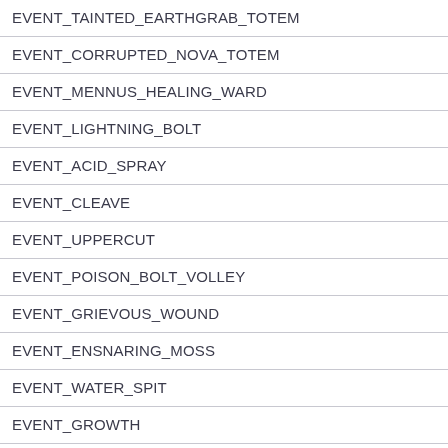| EVENT_TAINTED_EARTHGRAB_TOTEM |
| EVENT_CORRUPTED_NOVA_TOTEM |
| EVENT_MENNUS_HEALING_WARD |
| EVENT_LIGHTNING_BOLT |
| EVENT_ACID_SPRAY |
| EVENT_CLEAVE |
| EVENT_UPPERCUT |
| EVENT_POISON_BOLT_VOLLEY |
| EVENT_GRIEVOUS_WOUND |
| EVENT_ENSNARING_MOSS |
| EVENT_WATER_SPIT |
| EVENT_GROWTH |
| EVENT_CAVE_IN |
| EVENT_CAVE_IN_STATIC |
| EVENT_GROUND_SLAM |
| EVENT_HURTFUL_STRIKE |
| EVENT_REVERBERATION |